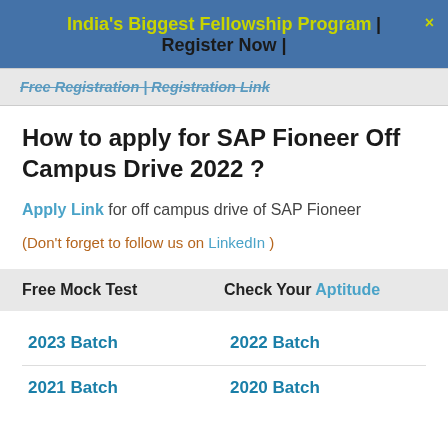India's Biggest Fellowship Program | Register Now |
Free Registration | Registration Link
How to apply for SAP Fioneer Off Campus Drive 2022 ?
Apply Link for off campus drive of SAP Fioneer
(Don't forget to follow us on LinkedIn )
| Free Mock Test | Check Your Aptitude |
| --- | --- |
| 2023 Batch | 2022 Batch |
| --- | --- |
| 2021 Batch | 2020 Batch |